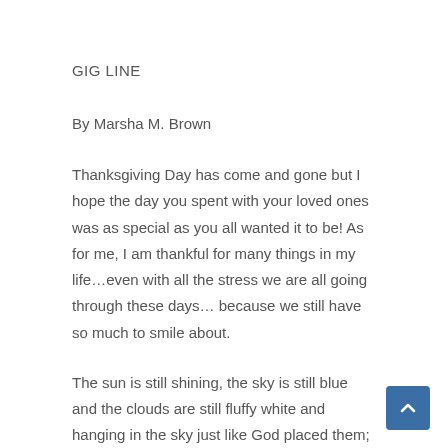GIG LINE
By Marsha M. Brown
Thanksgiving Day has come and gone but I hope the day you spent with your loved ones was as special as you all wanted it to be! As for me, I am thankful for many things in my life…even with all the stress we are all going through these days… because we still have so much to smile about.
The sun is still shining, the sky is still blue and the clouds are still fluffy white and hanging in the sky just like God placed them; the trees are pretty even when they shed their leafy clothing in preparation for winter temps; duck blinds are being